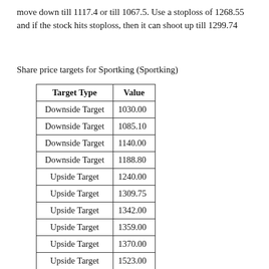move down till 1117.4 or till 1067.5. Use a stoploss of 1268.55 and if the stock hits stoploss, then it can shoot up till 1299.74
Share price targets for Sportking (Sportking)
| Target Type | Value |
| --- | --- |
| Downside Target | 1030.00 |
| Downside Target | 1085.10 |
| Downside Target | 1140.00 |
| Downside Target | 1188.80 |
| Upside Target | 1240.00 |
| Upside Target | 1309.75 |
| Upside Target | 1342.00 |
| Upside Target | 1359.00 |
| Upside Target | 1370.00 |
| Upside Target | 1523.00 |
| Upside Target | 1598.00 |